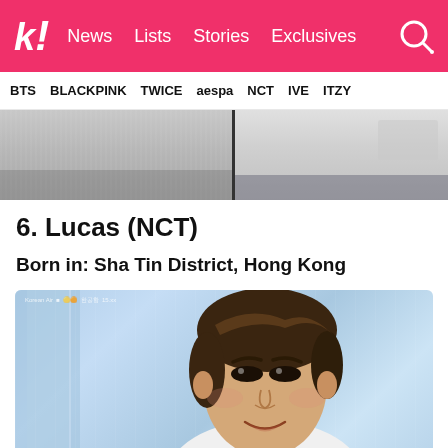k! News Lists Stories Exclusives
BTS BLACKPINK TWICE aespa NCT IVE ITZY
[Figure (photo): Cropped photo showing clothing/fabric detail, split into two portions]
6. Lucas (NCT)
Born in: Sha Tin District, Hong Kong
[Figure (photo): Portrait photo of Lucas (NCT member) smiling at an airport, with blue glass building background]